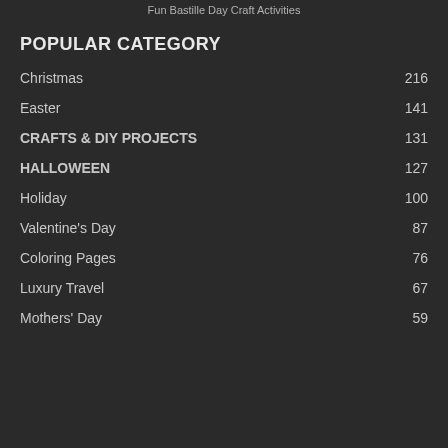Fun Bastille Day Craft Activities
POPULAR CATEGORY
Christmas 216
Easter 141
CRAFTS & DIY PROJECTS 131
HALLOWEEN 127
Holiday 100
Valentine's Day 87
Coloring Pages 76
Luxury Travel 67
Mothers' Day 59